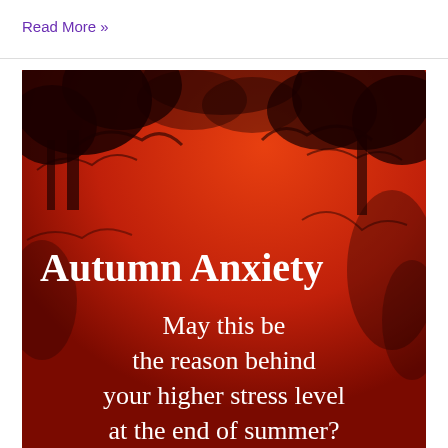Read More »
[Figure (illustration): Red-toned image of tree silhouettes against an orange-red sky, with overlaid white text reading 'Autumn Anxiety' and 'May this be the reason behind your higher stress level at the end of summer?']